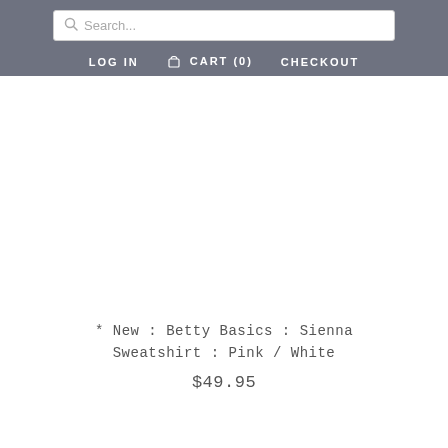Search... | LOG IN | CART (0) | CHECKOUT
[Figure (photo): Product image area (blank/white, no visible image)]
* New : Betty Basics : Sienna Sweatshirt : Pink / White
$49.95